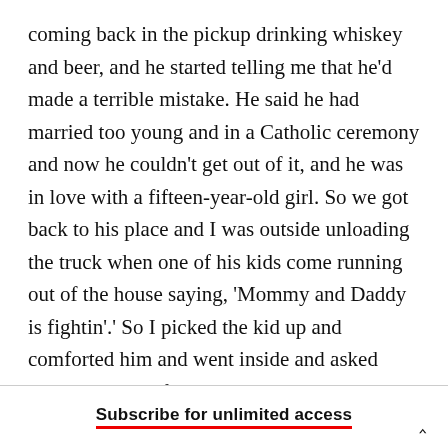coming back in the pickup drinking whiskey and beer, and he started telling me that he'd made a terrible mistake. He said he had married too young and in a Catholic ceremony and now he couldn't get out of it, and he was in love with a fifteen-year-old girl. So we got back to his place and I was outside unloading the truck when one of his kids come running out of the house saying, 'Mommy and Daddy is fightin'.' So I picked the kid up and comforted him and went inside and asked what they were fightin' about, and Eldee said, 'We're not fightin', we're just talkin'.' Then he takes me out in the yard and says, 'She won't give me a divorce.
Subscribe for unlimited access